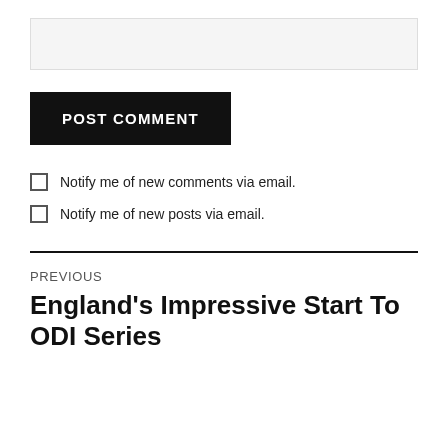[input box]
POST COMMENT
Notify me of new comments via email.
Notify me of new posts via email.
PREVIOUS
England's Impressive Start To ODI Series